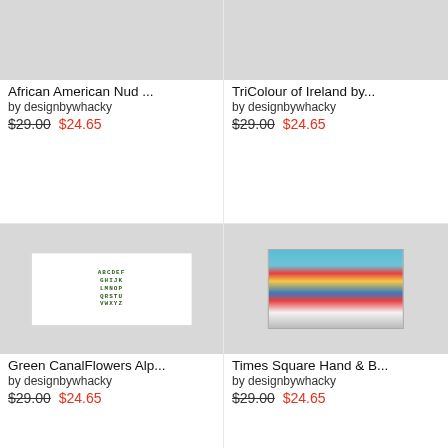[Figure (photo): African American Nud product image (top, cropped), light gray background]
African American Nud ...
by designbywhacky
$29.00 $24.65
[Figure (photo): TriColour of Ireland product image (top, cropped), light gray background]
TriColour of Ireland by...
by designbywhacky
$29.00 $24.65
[Figure (photo): Green CanalFlowers Alphabet hand towel with white fabric and dark green alphabet letters]
Green CanalFlowers Alp...
by designbywhacky
$29.00 $24.65
[Figure (photo): Times Square Hand & Body product image showing Times Square with neon signs and billboards]
Times Square Hand & B...
by designbywhacky
$29.00 $24.65